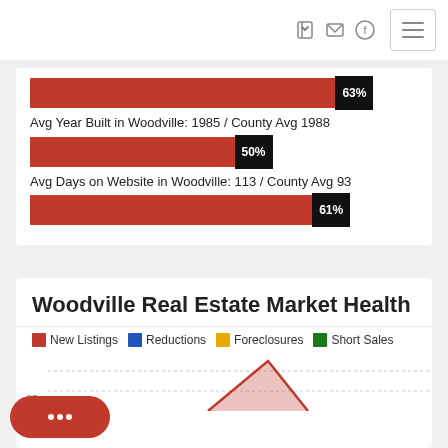[Figure (bar-chart): Avg Year Built in Woodville: 1985 / County Avg 1988]
Avg Year Built in Woodville: 1985 / County Avg 1988
[Figure (bar-chart): Avg Year Built percentage]
Avg Days on Website in Woodville: 113 / County Avg 93
[Figure (bar-chart): Avg Days on Website percentage]
Woodville Real Estate Market Health
New Listings | Reductions | Foreclosures | Short Sales